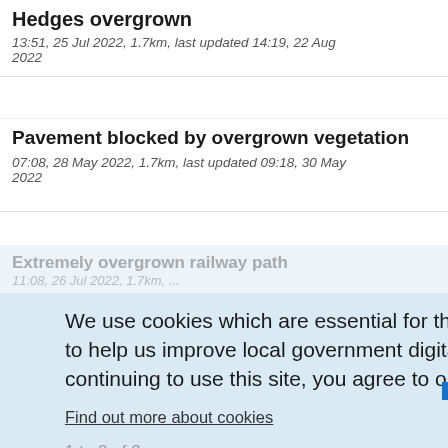Hedges overgrown
13:51, 25 Jul 2022, 1.7km, last updated 14:19, 22 Aug 2022
Pavement blocked by overgrown vegetation
07:08, 28 May 2022, 1.7km, last updated 09:18, 30 May 2022
Extremely overgrown railway path
11:08, 26 Jul 2022, 1.7km, ...
Maggs Lane Whitchurch
12:20, 28 Jul 2022, 1.8km, last updated 14:45, 29 Jul 2022
Nettles and brambles encroaching pavement
16:55, 15 Jul 2022, 1.8km, last updated 14:06, 21 Jul 2022
We use cookies which are essential for the site to work. We also use non-essential cookies to help us improve local government digital services. Any data collected is anonymised. By continuing to use this site, you agree to our use of cookies.
Find out more about cookies
1 to 2 of 2
Show older
Hide this message